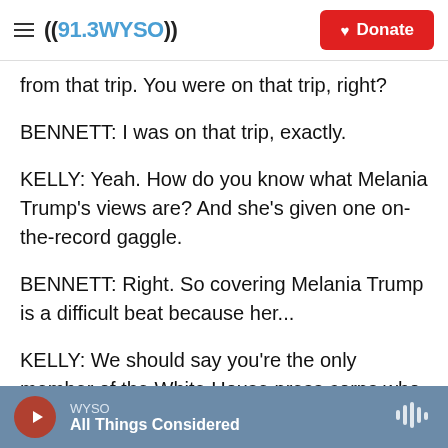91.3 WYSO | Donate
from that trip. You were on that trip, right?
BENNETT: I was on that trip, exactly.
KELLY: Yeah. How do you know what Melania Trump's views are? And she's given one on-the-record gaggle.
BENNETT: Right. So covering Melania Trump is a difficult beat because her...
KELLY: We should say you're the only member of the White House press corps who covers her full time as your focus. Go on.
WYSO | All Things Considered